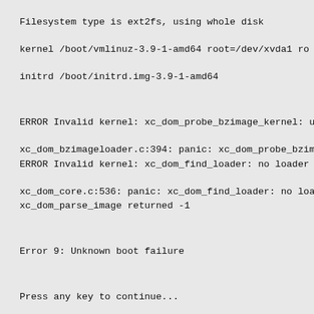Filesystem type is ext2fs, using whole disk
kernel /boot/vmlinuz-3.9-1-amd64 root=/dev/xvda1 ro
initrd /boot/initrd.img-3.9-1-amd64
ERROR Invalid kernel: xc_dom_probe_bzimage_kernel: u
xc_dom_bzimageloader.c:394: panic: xc_dom_probe_bzim
ERROR Invalid kernel: xc_dom_find_loader: no loader
xc_dom_core.c:536: panic: xc_dom_find_loader: no loa
xc_dom_parse_image returned -1
Error 9: Unknown boot failure
Press any key to continue...